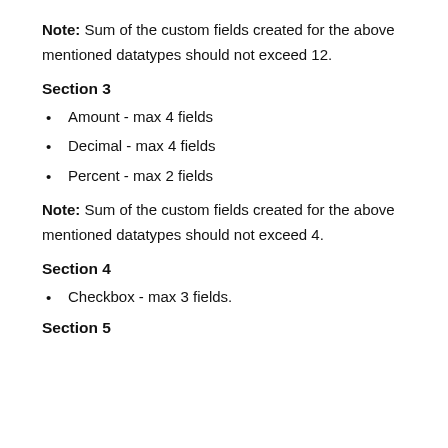Note: Sum of the custom fields created for the above mentioned datatypes should not exceed 12.
Section 3
Amount - max 4 fields
Decimal - max 4 fields
Percent - max 2 fields
Note: Sum of the custom fields created for the above mentioned datatypes should not exceed 4.
Section 4
Checkbox - max 3 fields.
Section 5